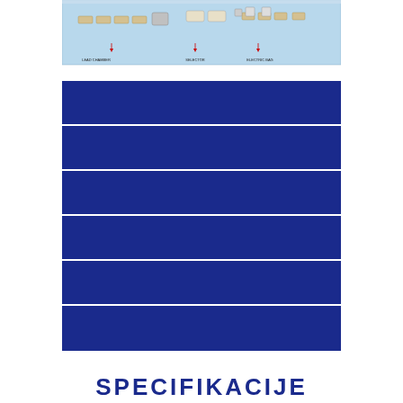[Figure (schematic): Engineering schematic diagram of a flat surface (possibly a circuit board or industrial panel) shown in light blue with components on top and three labeled connection points indicated by red arrows. Labels include: LEAD CHAMBER, SELECTOR, ELECTRIC BAG.]
|  |
|  |
|  |
|  |
|  |
|  |
SPECIFIKACIJE